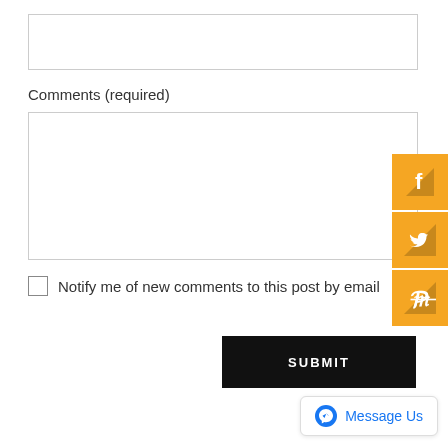[Figure (screenshot): Empty text input field]
Comments (required)
[Figure (screenshot): Empty textarea input field for comments]
Notify me of new comments to this post by email
[Figure (screenshot): Submit button (black background, white text)]
[Figure (screenshot): Facebook orange social share button]
[Figure (screenshot): Twitter orange social share button]
[Figure (screenshot): Pinterest orange social share button]
[Figure (screenshot): Message Us Facebook Messenger button widget]